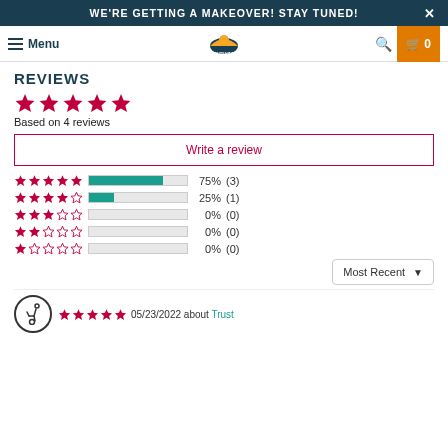WE'RE GETTING A MAKEOVER! STAY TUNED!
Menu | Outshine | 🔍 | 🛒 0
REVIEWS
Based on 4 reviews
Write a review
[Figure (bar-chart): Rating distribution]
Most Recent
05/23/2022 about Trust